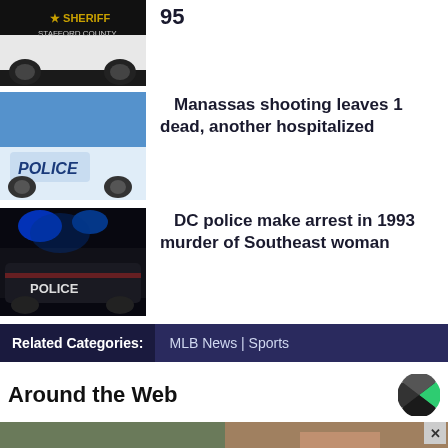[Figure (photo): Stafford County Sheriff vehicle, partial view showing star badge and text]
95
[Figure (photo): Manassas Police SUV, blue and white]
Manassas shooting leaves 1 dead, another hospitalized
[Figure (photo): DC Police vehicle at night with blue flashing lights]
DC police make arrest in 1993 murder of Southeast woman
Related Categories: MLB News | Sports
Around the Web
[Figure (photo): Around the Web content thumbnails]
[Figure (photo): Long Fence advertisement: 15% OFF FENCING]